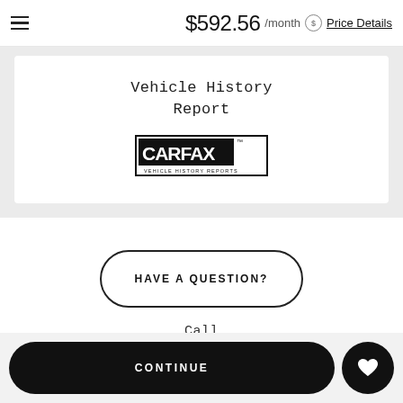$592.56 /month Price Details
Vehicle History Report
[Figure (logo): CARFAX Vehicle History Reports logo — black and white rectangular logo with CARFAX text and 'VEHICLE HISTORY REPORTS' subtitle]
HAVE A QUESTION?
Call
CONTINUE